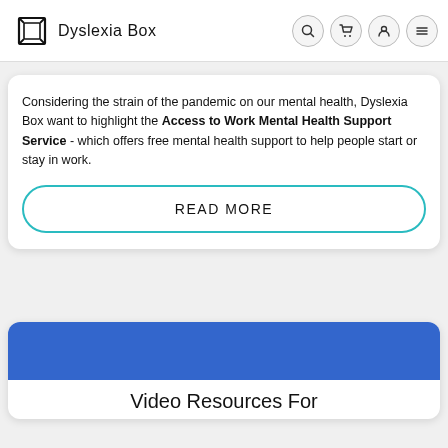Dyslexia Box
Considering the strain of the pandemic on our mental health, Dyslexia Box want to highlight the Access to Work Mental Health Support Service - which offers free mental health support to help people start or stay in work.
READ MORE
[Figure (illustration): Blue banner image at top of card]
Video Resources For